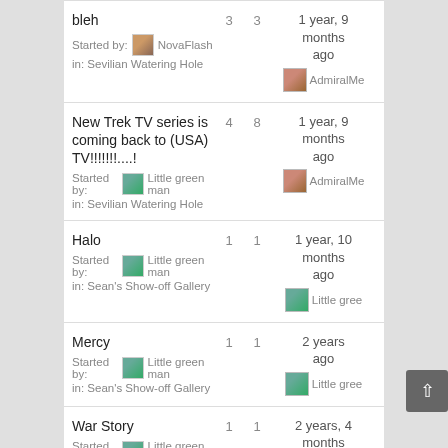| Topic | Replies | Views | Last Post |
| --- | --- | --- | --- |
| bleh
Started by: NovaFlash
in: Sevilian Watering Hole | 3 | 3 | 1 year, 9 months ago
AdmiralMe |
| New Trek TV series is coming back to (USA) TV!!!!!!!....!
Started by: Little green man
in: Sevilian Watering Hole | 4 | 8 | 1 year, 9 months ago
AdmiralMe |
| Halo
Started by: Little green man
in: Sean's Show-off Gallery | 1 | 1 | 1 year, 10 months ago
Little gree |
| Mercy
Started by: Little green man
in: Sean's Show-off Gallery | 1 | 1 | 2 years ago
Little gree |
| War Story
Started by: Little green man | 1 | 1 | 2 years, 4 months |